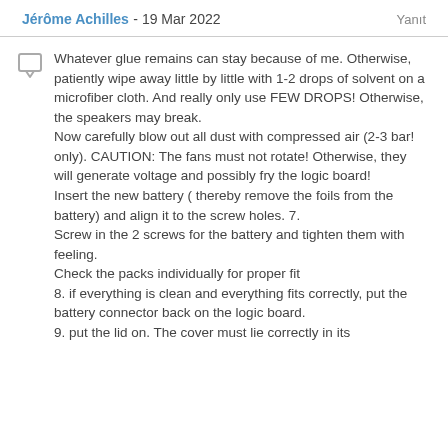Jérôme Achilles - 19 Mar 2022   Yanıt
Whatever glue remains can stay because of me. Otherwise, patiently wipe away little by little with 1-2 drops of solvent on a microfiber cloth. And really only use FEW DROPS! Otherwise, the speakers may break.
Now carefully blow out all dust with compressed air (2-3 bar! only). CAUTION: The fans must not rotate! Otherwise, they will generate voltage and possibly fry the logic board!
Insert the new battery ( thereby remove the foils from the battery) and align it to the screw holes. 7.
Screw in the 2 screws for the battery and tighten them with feeling.
Check the packs individually for proper fit
8. if everything is clean and everything fits correctly, put the battery connector back on the logic board.
9. put the lid on. The cover must lie correctly in its